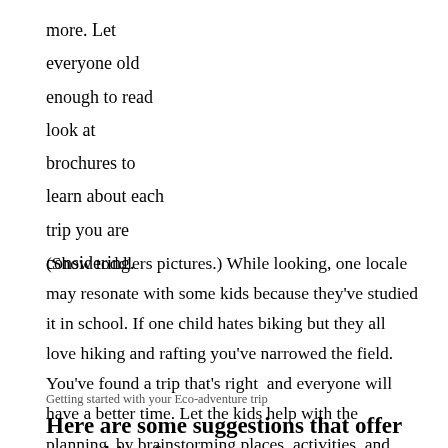more. Let
everyone old
enough to read
look at
brochures to
learn about each
trip you are
considering.
(Show toddlers pictures.) While looking, one locale may resonate with some kids because they've studied it in school. If one child hates biking but they all love hiking and rafting you've narrowed the field. You've found a trip that's right  and everyone will have a better time. Let the kids help with the planning, by brainstorming places, activities, and dreams. Let them help with gathering the information. Finally, let them plan  the trip.
Getting started with your Eco-adventure trip
Here are some suggestions that offer something for